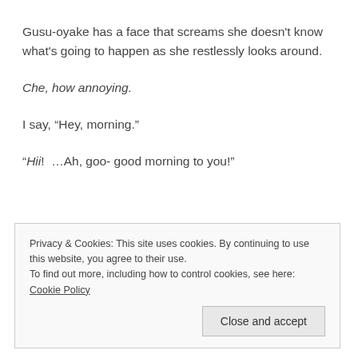Gusu-oyake has a face that screams she doesn't know what's going to happen as she restlessly looks around.
Che, how annoying.
I say, “Hey, morning.”
“Hii!  …Ah, goo- good morning to you!”
Privacy & Cookies: This site uses cookies. By continuing to use this website, you agree to their use.
To find out more, including how to control cookies, see here: Cookie Policy
Close and accept